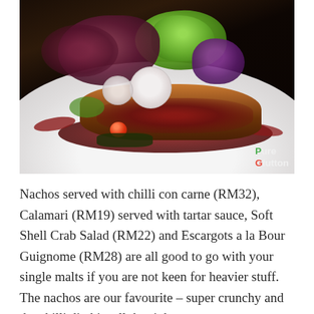[Figure (photo): Close-up food photograph of a plated dish on a white plate, featuring meat with dark brown sauce drizzled over it, garnished with green and red/purple lettuce leaves, sliced radishes, purple cabbage, a cherry tomato, and other vegetables. The Pure Glutton logo watermark appears in the bottom-right corner of the image.]
Nachos served with chilli con carne (RM32), Calamari (RM19) served with tartar sauce, Soft Shell Crab Salad (RM22) and Escargots a la Bour Guignome (RM28) are all good to go with your single malts if you are not keen for heavier stuff.  The nachos are our favourite – super crunchy and the chilli dip hits all the right notes.